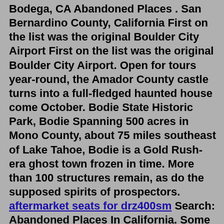Bodega, CA Abandoned Places . San Bernardino County, California First on the list was the original Boulder City Airport First on the list was the original Boulder City Airport. Open for tours year-round, the Amador County castle turns into a full-fledged haunted house come October. Bodie State Historic Park, Bodie Spanning 500 acres in Mono County, about 75 miles southeast of Lake Tahoe, Bodie is a Gold Rush-era ghost town frozen in time. More than 100 structures remain, as do the supposed spirits of prospectors. aftermarket seats for drz400sm Search: Abandoned Places In California. Some see abandoned houses as an eyesore – others, as an adventure Find amazing places to take photos, anywhere in the world So much so that Battery Point has been deemed the 7th most haunted lighthouse in … If you have a specific location from the list below that you would like to immediately get more information about, click the links in the list to snap straight to that abandoned places in California location. Rock-A-Hoola Waterpark (Newberry Springs) Casa Sierra Seaside…